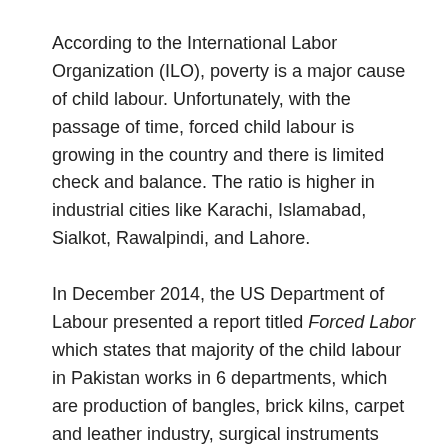According to the International Labor Organization (ILO), poverty is a major cause of child labour. Unfortunately, with the passage of time, forced child labour is growing in the country and there is limited check and balance. The ratio is higher in industrial cities like Karachi, Islamabad, Sialkot, Rawalpindi, and Lahore.
In December 2014, the US Department of Labour presented a report titled Forced Labor which states that majority of the child labour in Pakistan works in 6 departments, which are production of bangles, brick kilns, carpet and leather industry, surgical instruments manufacturing and coal mining.
Another major factor that contributes to child labour